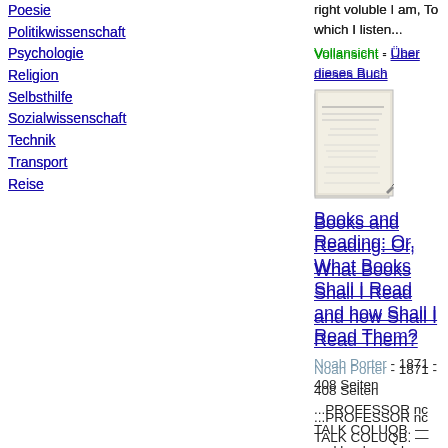Poesie
Politikwissenschaft
Psychologie
Religion
Selbsthilfe
Sozialwissenschaft
Technik
Transport
Reise
right voluble I am, To which I listen...
Vollansicht - Über dieses Buch
[Figure (illustration): Book cover thumbnail for Books and Reading: Or, What Books Shall I Read and how Shall I Read Them?]
Books and Reading: Or, What Books Shall I Read and how Shall I Read Them?
Noah Porter - 1871 - 408 Seiten
...PROFESSOR nc TALK COLUQB. — and books we know Are a substantial world, both pure and good ; Bound these, with tendrils strong as flesh and blood; Our pastime and our happiness will